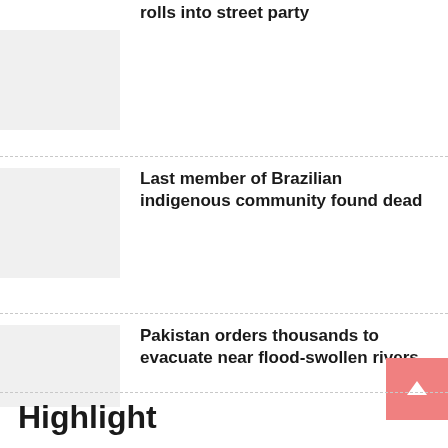rolls into street party
Last member of Brazilian indigenous community found dead
Pakistan orders thousands to evacuate near flood-swollen rivers
Highlight